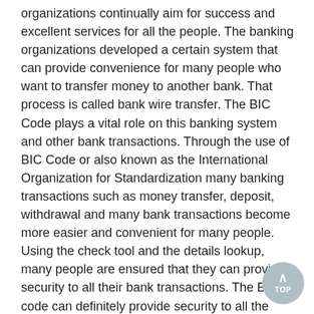organizations continually aim for success and excellent services for all the people. The banking organizations developed a certain system that can provide convenience for many people who want to transfer money to another bank. That process is called bank wire transfer. The BIC Code plays a vital role on this banking system and other bank transactions. Through the use of BIC Code or also known as the International Organization for Standardization many banking transactions such as money transfer, deposit, withdrawal and many bank transactions become more easier and convenient for many people. Using the check tool and the details lookup, many people are ensured that they can provide security to all their bank transactions. The BIC code can definitely provide security to all the transactions of users because it serves as the unique identifier. This unique identifier is usually used for the validation and verification process if you will make banking transactions and international financial transactions like the money transfer also known as the bank wire transfer. Validate an International Bank Account Number structure and lenght, identify the bank owning this account, BIC code and address at IBAN checker.